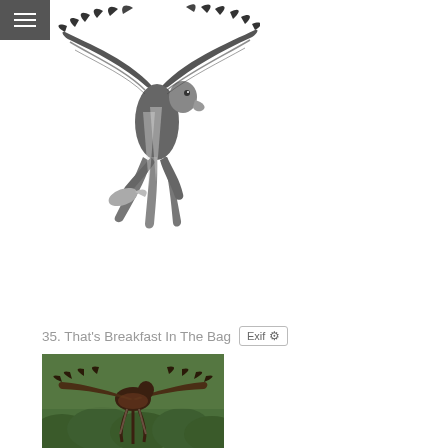[Figure (photo): Black and white photo of an eagle in flight with wings spread wide, catching a fish, against a white background]
35. That's Breakfast In The Bag
[Figure (photo): Color photo of a bird of prey (eagle) in flight with dark plumage, green forest background below]